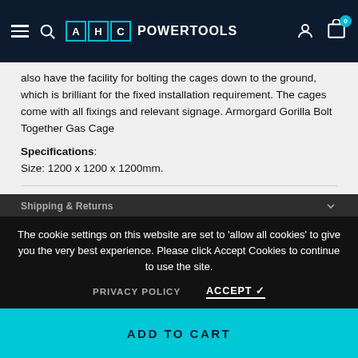AHC POWERTOOLS
also have the facility for bolting the cages down to the ground, which is brilliant for the fixed installation requirement. The cages come with all fixings and relevant signage. Armorgard Gorilla Bolt Together Gas Cage
Specifications:
Size: 1200 x 1200 x 1200mm.
Shipping & Returns
The cookie settings on this website are set to 'allow all cookies' to give you the very best experience. Please click Accept Cookies to continue to use the site.
PRIVACY POLICY    ACCEPT ✓
Have Questions? Ask an Expert
ADD TO CART